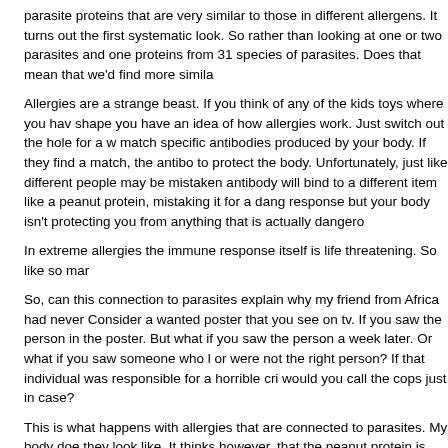parasite proteins that are very similar to those in different allergens. It turns out the first systematic look. So rather than looking at one or two parasites and one proteins from 31 species of parasites. Does that mean that we'd find more simila
Allergies are a strange beast. If you think of any of the kids toys where you hav shape you have an idea of how allergies work. Just switch out the hole for a w match specific antibodies produced by your body. If they find a match, the antibo to protect the body. Unfortunately, just like different people may be mistaken antibody will bind to a different item like a peanut protein, mistaking it for a dang response but your body isn't protecting you from anything that is actually dangero
In extreme allergies the immune response itself is life threatening. So like so mar
So, can this connection to parasites explain why my friend from Africa had never Consider a wanted poster that you see on tv. If you saw the person in the poster. But what if you saw the person a week later. Or what if you saw someone who l or were not the right person? If that individual was responsible for a horrible cri would you call the cops just in case?
This is what happens with allergies that are connected to parasites. My body doe they look like. It thinks however, that the peanut protein is pretty similar so it's b eyes swell up, breathing stops, all in all it's pretty bad. All because my immune sy
Okay, this makes a lot of sense to me, but I still want to know why my antiboo parasite when someone else's can.